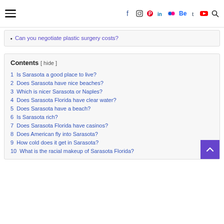Navigation bar with hamburger menu and social icons (f, Instagram, Pinterest, in, Flickr, Be, t, YouTube, search)
Can you negotiate plastic surgery costs?
Contents [ hide ]
1  Is Sarasota a good place to live?
2  Does Sarasota have nice beaches?
3  Which is nicer Sarasota or Naples?
4  Does Sarasota Florida have clear water?
5  Does Sarasota have a beach?
6  Is Sarasota rich?
7  Does Sarasota Florida have casinos?
8  Does American fly into Sarasota?
9  How cold does it get in Sarasota?
10  What is the racial makeup of Sarasota Florida?